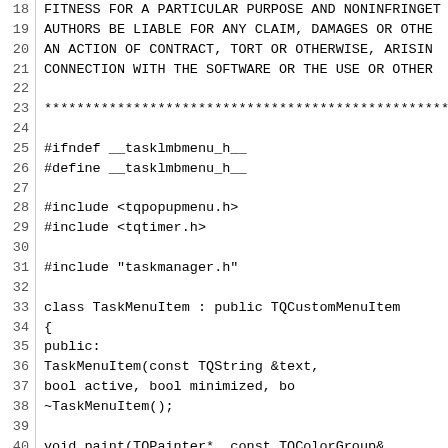Source code listing lines 18-47 of tasklmbmenu.h header file
18  FITNESS FOR A PARTICULAR PURPOSE AND NONINFRINGEMENT.
19  AUTHORS BE LIABLE FOR ANY CLAIM, DAMAGES OR OTHER
20  AN ACTION OF CONTRACT, TORT OR OTHERWISE, ARISING
21  CONNECTION WITH THE SOFTWARE OR THE USE OR OTHER
22  (blank)
23  ****...
24  (blank)
25  #ifndef __tasklmbmenu_h__
26  #define __tasklmbmenu_h__
27  (blank)
28  #include <tqpopupmenu.h>
29  #include <tqtimer.h>
30  (blank)
31  #include "taskmanager.h"
32  (blank)
33  class TaskMenuItem : public TQCustomMenuItem
34  {
35  public:
36      TaskMenuItem(const TQString &text,
37                  bool active, bool minimized, bo
38      ~TaskMenuItem();
39  (blank)
40      void paint(TQPainter*, const TQColorGroup&,
41      TQSize tqsizeHint();
42      void setAttentionState(bool state) { m_atten
43  (blank)
44  private:
45      TQString m_text;
46      bool m_isActive;
47      bool m_isMinimized;